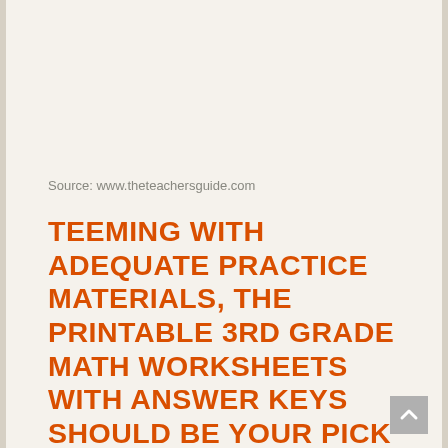Source: www.theteachersguide.com
TEEMING WITH ADEQUATE PRACTICE MATERIALS, THE PRINTABLE 3RD GRADE MATH WORKSHEETS WITH ANSWER KEYS SHOULD BE YOUR PICK IF DEVELOPING AN UNDERSTANDING OF REPRESENTING AND INTERPRETING DATA AND THE LIKE ARE ON YOUR MIND.